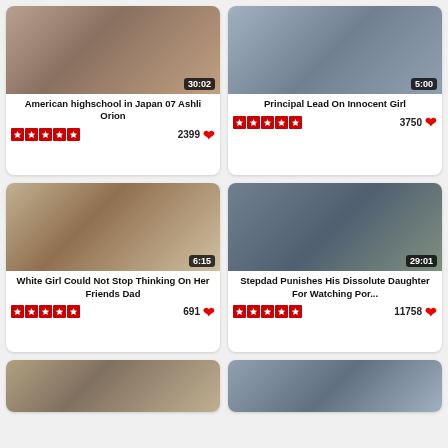[Figure (photo): Video thumbnail - American highschool in Japan 07 Ashli Orion, duration 30:02]
American highschool in Japan 07 Ashli Orion
2399 ♥ ★★★★★
[Figure (photo): Video thumbnail - Principal Lead On Innocent Girl, duration 5:00]
Principal Lead On Innocent Girl
3750 ♥ ★★★★★
[Figure (photo): Video thumbnail - White Girl Could Not Stop Thinking On Her Friends Dad, duration 6:15]
White Girl Could Not Stop Thinking On Her Friends Dad
691 ♥ ★★★★★
[Figure (photo): Video thumbnail - Stepdad Punishes His Dissolute Daughter For Watching Por..., duration 29:01]
Stepdad Punishes His Dissolute Daughter For Watching Por...
11758 ♥ ★★★★★
[Figure (photo): Video thumbnail - partial card at bottom left]
[Figure (photo): Video thumbnail - partial card at bottom right]